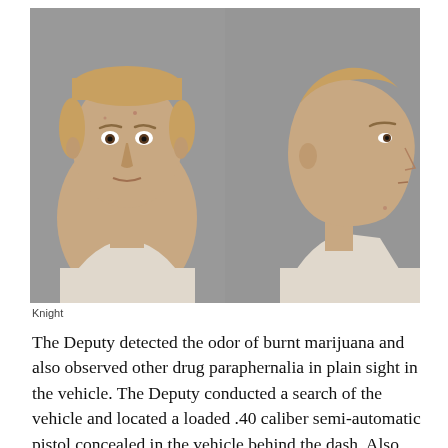[Figure (photo): Police mugshot showing front and side profile views of a young white male with short blonde hair wearing a white/cream t-shirt, against a gray background.]
Knight
The Deputy detected the odor of burnt marijuana and also observed other drug paraphernalia in plain sight in the vehicle. The Deputy conducted a search of the vehicle and located a loaded .40 caliber semi-automatic pistol concealed in the vehicle behind the dash. Also found in the vehicle were...